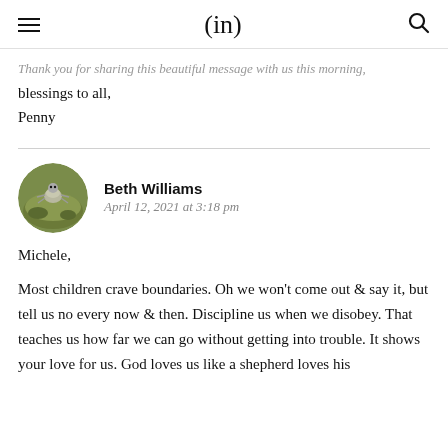(in)
Thank you for sharing this beautiful message with us this morning, blessings to all,
Penny
Beth Williams
April 12, 2021 at 3:18 pm
[Figure (photo): Circular avatar image of Beth Williams showing a small animal (possibly a frog or crab) on green moss]
Michele,

Most children crave boundaries. Oh we won't come out & say it, but tell us no every now & then. Discipline us when we disobey. That teaches us how far we can go without getting into trouble. It shows your love for us. God loves us like a shepherd loves his